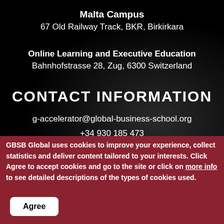Malta Campus
67 Old Railway Track, BKR, Birkirkara
Online Learning and Executive Education
Bahnhofstrasse 28, Zug, 6300 Switzerland
CONTACT INFORMATION
g-accelerator@global-business-school.org
+34 930 185 473
+41 41 508 11 29
+356 2778 0821
GBSB Global uses cookies to improve your experience, collect statistics and deliver content tailored to your interests. Click Agree to accept cookies and go to the site or click on more info to see detailed descriptions of the types of cookies used.